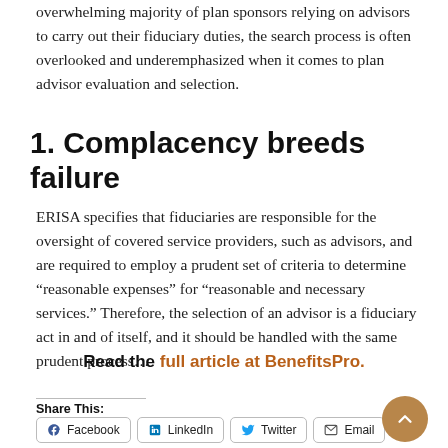overwhelming majority of plan sponsors relying on advisors to carry out their fiduciary duties, the search process is often overlooked and underemphasized when it comes to plan advisor evaluation and selection.
1. Complacency breeds failure
ERISA specifies that fiduciaries are responsible for the oversight of covered service providers, such as advisors, and are required to employ a prudent set of criteria to determine “reasonable expenses” for “reasonable and necessary services.” Therefore, the selection of an advisor is a fiduciary act in and of itself, and it should be handled with the same prudent process…
Read the full article at BenefitsPro.
Share This:
Facebook
LinkedIn
Twitter
Email